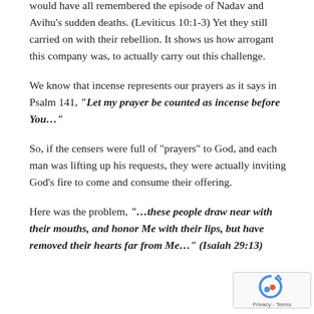would have all remembered the episode of Nadav and Avihu's sudden deaths. (Leviticus 10:1-3) Yet they still carried on with their rebellion. It shows us how arrogant this company was, to actually carry out this challenge.
We know that incense represents our prayers as it says in Psalm 141, "Let my prayer be counted as incense before You..."
So, if the censers were full of "prayers" to God, and each man was lifting up his requests, they were actually inviting God's fire to come and consume their offering.
Here was the problem, "...these people draw near with their mouths, and honor Me with their lips, but have removed their hearts far from Me..." (Isaiah 29:13)